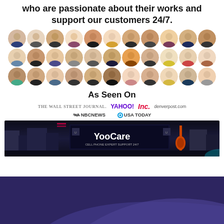who are passionate about their works and support our customers 24/7.
[Figure (photo): Grid of 33 circular avatar photos showing diverse support team members in three rows]
As Seen On
[Figure (logo): Media logos row 1: The Wall Street Journal, Yahoo!, Inc., denverpost.com]
[Figure (logo): Media logos row 2: NBC News, USA Today]
[Figure (photo): Times Square billboard showing YooCare brand on a large outdoor display with city buildings]